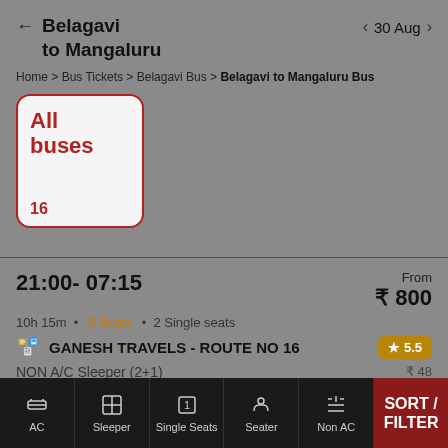Belagavi to Mangaluru
30 Aug
Home > Bus Tickets > Belagavi Bus > Belagavi to Mangaluru Bus
All buses
16
21:00- 07:15
From ₹ 800
10h 15m • 8 Seats • 2 Single seats
GANESH TRAVELS - ROUTE NO 16
★ 5.5
NON A/C Sleeper (2+1)
₹ 48
AC | Sleeper | Single Seats | Seater | Non AC | SORT / FILTER